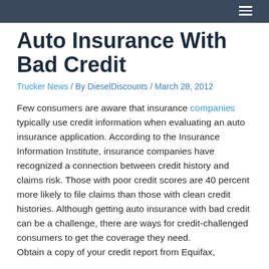Auto Insurance With Bad Credit
Trucker News / By DieselDiscounts / March 28, 2012
Few consumers are aware that insurance companies typically use credit information when evaluating an auto insurance application. According to the Insurance Information Institute, insurance companies have recognized a connection between credit history and claims risk. Those with poor credit scores are 40 percent more likely to file claims than those with clean credit histories. Although getting auto insurance with bad credit can be a challenge, there are ways for credit-challenged consumers to get the coverage they need. Obtain a copy of your credit report from Equifax,